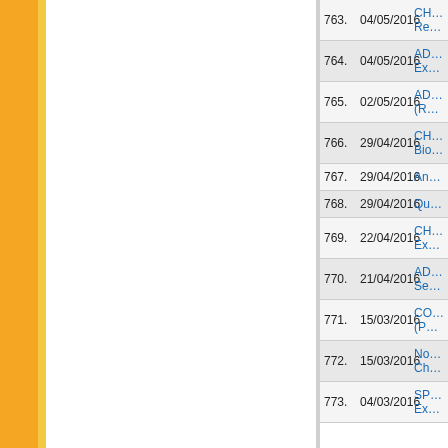| # | Date | Title |
| --- | --- | --- |
| 763. | 04/05/2016 | CHANGES: Reappear) E... |
| 764. | 04/05/2016 | ADDITIONS: Examination... |
| 765. | 02/05/2016 | ADDITION: N... (Regular-Re... |
| 766. | 29/04/2016 | CHANGE in Biotechnolog... |
| 767. | 29/04/2016 | Answer Key... |
| 768. | 29/04/2016 | Questions B... |
| 769. | 22/04/2016 | CHANGE: LI... Examination... |
| 770. | 21/04/2016 | ADDITION in Semester Ex... |
| 771. | 15/03/2016 | CORRECTIO... (PRACTICA... |
| 772. | 15/03/2016 | Notification: Chance in Ju... |
| 773. | 04/03/2016 | SPECIAL CH... Examination... |